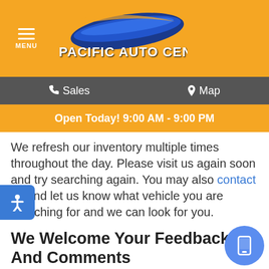[Figure (logo): Pacific Auto Center logo with blue swoosh graphic and orange background]
Sales   Map
Open Today! 9:00 AM - 9:00 PM
We refresh our inventory multiple times throughout the day. Please visit us again soon and try searching again. You may also contact us and let us know what vehicle you are searching for and we can look for you.
We Welcome Your Feedback And Comments
Do you have questions or comments for us? We'd love to hear them! Fill out the form and we will get back to you as soon as possible.
If you need help with any aspect of the